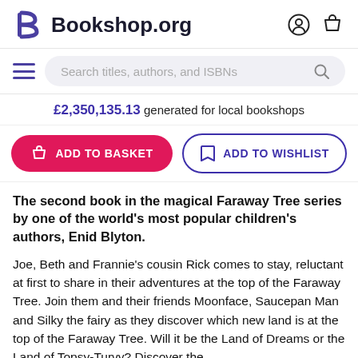Bookshop.org
Search titles, authors, and ISBNs
£2,350,135.13 generated for local bookshops
ADD TO BASKET
ADD TO WISHLIST
The second book in the magical Faraway Tree series by one of the world's most popular children's authors, Enid Blyton.
Joe, Beth and Frannie's cousin Rick comes to stay, reluctant at first to share in their adventures at the top of the Faraway Tree. Join them and their friends Moonface, Saucepan Man and Silky the fairy as they discover which new land is at the top of the Faraway Tree. Will it be the Land of Dreams or the Land of Topsy-Turvy? Discover the